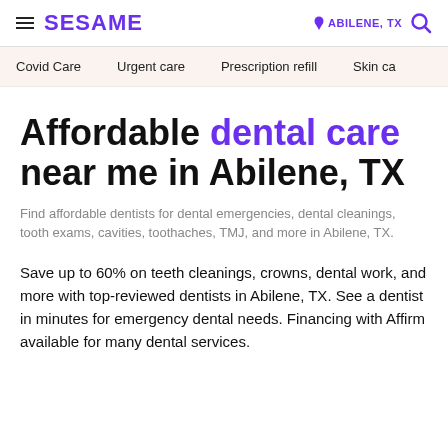SESAME | ABILENE, TX
Covid Care  Urgent care  Prescription refill  Skin care
Affordable dental care near me in Abilene, TX
Find affordable dentists for dental emergencies, dental cleanings, tooth exams, cavities, toothaches, TMJ, and more in Abilene, TX.
Save up to 60% on teeth cleanings, crowns, dental work, and more with top-reviewed dentists in Abilene, TX. See a dentist in minutes for emergency dental needs. Financing with Affirm available for many dental services.